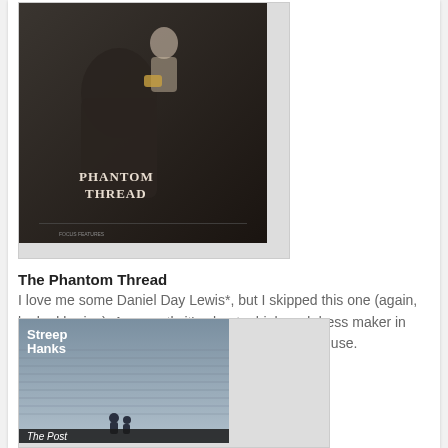[Figure (photo): Movie poster for Phantom Thread showing a man in silhouette with text PHANTOM THREAD]
The Phantom Thread
I love me some Daniel Day Lewis*, but I skipped this one (again, looked boring). Apparently it's about a high-end dress maker in 1950s London, who becomes obsessed with his muse.
[Figure (photo): Movie poster for The Post showing Streep Hanks with two people on stairs]